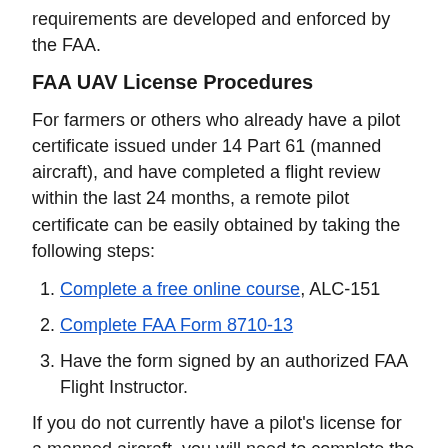requirements are developed and enforced by the FAA.
FAA UAV License Procedures
For farmers or others who already have a pilot certificate issued under 14 Part 61 (manned aircraft), and have completed a flight review within the last 24 months, a remote pilot certificate can be easily obtained by taking the following steps:
Complete a free online course, ALC-151
Complete FAA Form 8710-13
Have the form signed by an authorized FAA Flight Instructor.
If you do not currently have a pilot's license for a manned aircraft, you will need to complete the following steps to get a remote pilot certificate:
You must take and pass the Unmanned Aircraft General Knowledge Exam. This exam will focus on